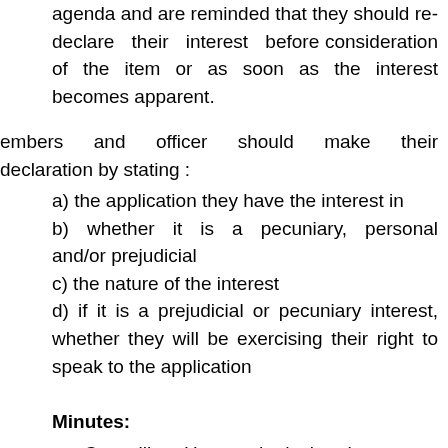agenda and are reminded that they should re-declare their interest before consideration of the item or as soon as the interest becomes apparent.
embers and officer should make their declaration by stating :
a) the application they have the interest in
b) whether it is a pecuniary, personal and/or prejudicial
c) the nature of the interest
d) if it is a prejudicial or pecuniary interest, whether they will be exercising their right to speak to the application
Minutes:
Councillor Haywood declared a